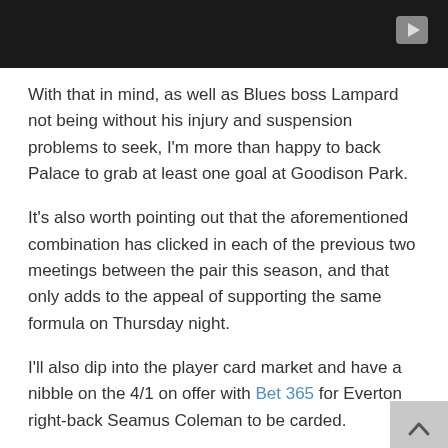[Figure (screenshot): Dark video banner with a play button in the top-right corner]
With that in mind, as well as Blues boss Lampard not being without his injury and suspension problems to seek, I'm more than happy to back Palace to grab at least one goal at Goodison Park.
It's also worth pointing out that the aforementioned combination has clicked in each of the previous two meetings between the pair this season, and that only adds to the appeal of supporting the same formula on Thursday night.
I'll also dip into the player card market and have a nibble on the 4/1 on offer with Bet 365 for Everton right-back Seamus Coleman to be carded.
The Toffees skipper could have his hands full here against tricky Crystal Palace talisman Wilfried Zaha, the